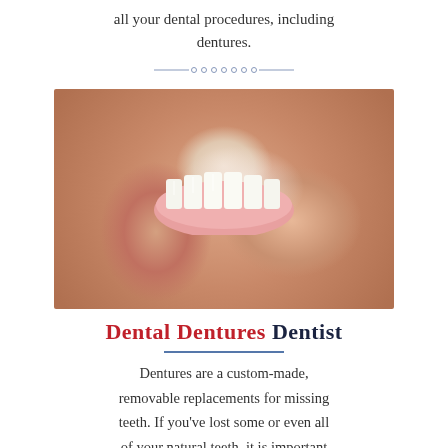all your dental procedures, including dentures.
[Figure (photo): A hand holding a set of dental dentures against a light background]
Dental Dentures Dentist
Dentures are a custom-made, removable replacements for missing teeth. If you’ve lost some or even all of your natural teeth, it is important